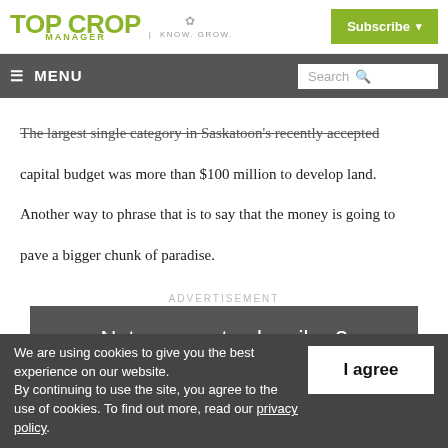Top Crop Manager | Know. Grow. | Subscribe
≡ MENU | Search
The largest single category in Saskatoon's recently accepted capital budget was more than $100 million to develop land. Another way to phrase that is to say that the money is going to pave a bigger chunk of paradise.
ADVERTISEMENT
Not a current subscriber?
We are using cookies to give you the best experience on our website. By continuing to use the site, you agree to the use of cookies. To find out more, read our privacy policy.